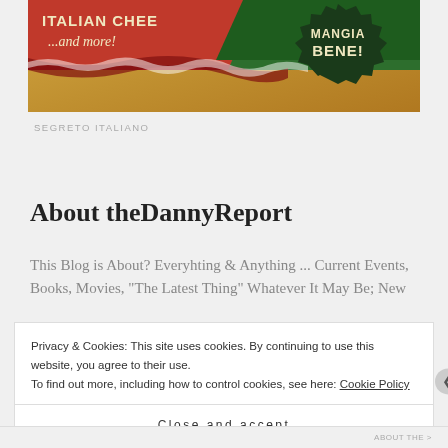[Figure (illustration): Vintage Italian restaurant/food banner with red and green background, cream text reading 'ITALIAN CHEESE ...and more!' and a dark green badge reading 'MANGIA BENE!']
SEGRETO ITALIANO
About theDannyReport
This Blog is About? Everyhting & Anything ... Current Events, Books, Movies, "The Latest Thing" Whatever It May Be; New
Privacy & Cookies: This site uses cookies. By continuing to use this website, you agree to their use.
To find out more, including how to control cookies, see here: Cookie Policy
Close and accept